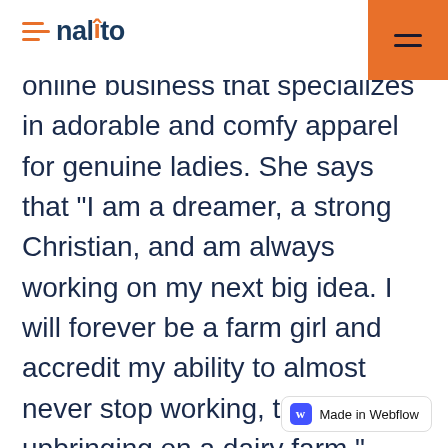Enalito
online business that specializes in adorable and comfy apparel for genuine ladies. She says that “I am a dreamer, a strong Christian, and am always working on my next big idea. I will forever be a farm girl and accredit my ability to almost never stop working, to my upbringing on a dairy farm.”
Made in Webflow